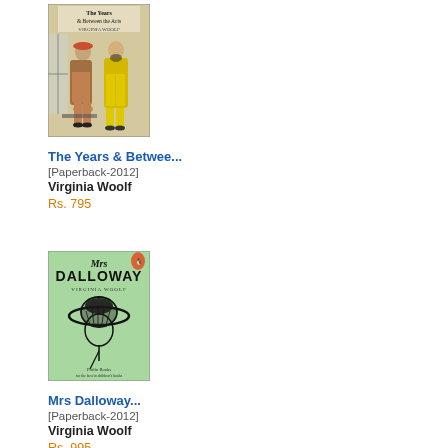[Figure (illustration): Book cover of 'The Years & Between the Acts' by Virginia Woolf, showing two illustrated figures in vintage fashion clothing]
The Years & Betwee...
[Paperback-2012]
Virginia Woolf
Rs. 795
[Figure (illustration): Book cover of 'Mrs Dalloway' by Virginia Woolf (Penguin edition), light green cover with a black ink sketch of a woman wearing a wide-brimmed hat]
Mrs Dalloway...
[Paperback-2012]
Virginia Woolf
Rs. 995